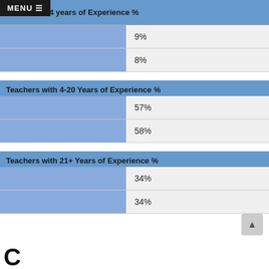Fewer than 4 years of Experience %
|  | Fewer than 4 years of Experience % |
| --- | --- |
|  | 9% |
|  | 8% |
Teachers with 4-20 Years of Experience %
|  | Teachers with 4-20 Years of Experience % |
| --- | --- |
|  | 57% |
|  | 58% |
Teachers with 21+ Years of Experience %
|  | Teachers with 21+ Years of Experience % |
| --- | --- |
|  | 34% |
|  | 34% |